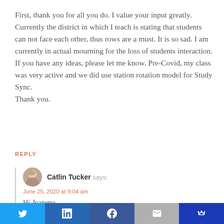First, thank you for all you do. I value your input greatly. Currently the district in which I teach is stating that students can not face each other, thus rows are a must. It is so sad. I am currently in actual mourning for the loss of students interaction. If you have any ideas, please let me know. Pre-Covid, my class was very active and we did use station rotation model for Study Sync.
Thank you.
REPLY
Catlin Tucker says:
June 25, 2020 at 9:04 am

Hi Jeanette,
[Figure (photo): Avatar photo of Catlin Tucker, a woman with light hair]
Twitter | LinkedIn | Facebook | Email | Crown